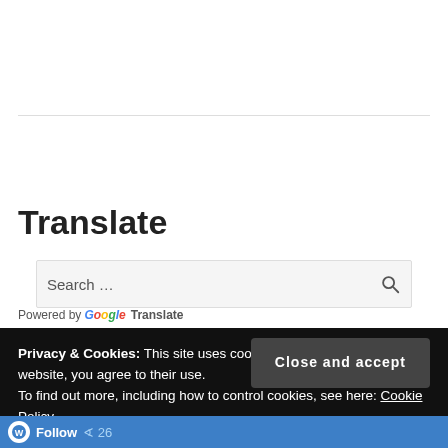[Figure (screenshot): Search bar with placeholder text 'Search ...' and a magnifying glass icon on a light gray background]
Translate
[Figure (screenshot): Language selector dropdown showing 'Select Language' with a downward chevron]
Powered by Google Translate
Privacy & Cookies: This site uses cookies. By continuing to use this website, you agree to their use.
To find out more, including how to control cookies, see here: Cookie Policy
Close and accept
Follow  26